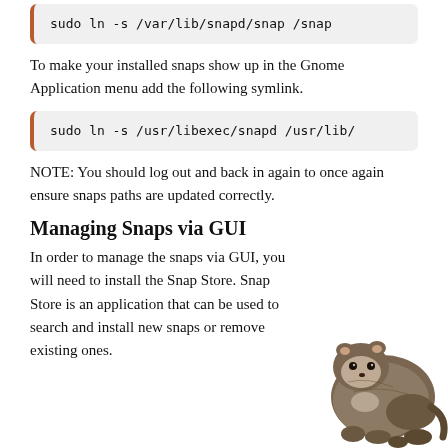sudo ln -s /var/lib/snapd/snap /snap
To make your installed snaps show up in the Gnome Application menu add the following symlink.
sudo ln -s /usr/libexec/snapd /usr/lib/
NOTE: You should log out and back in again to once again ensure snaps paths are updated correctly.
Managing Snaps via GUI
In order to manage the snaps via GUI, you will need to install the Snap Store. Snap Store is an application that can be used to search and install new snaps or remove existing ones.
[Figure (photo): Photo of a ferret sitting, positioned in the bottom-right corner of the page.]